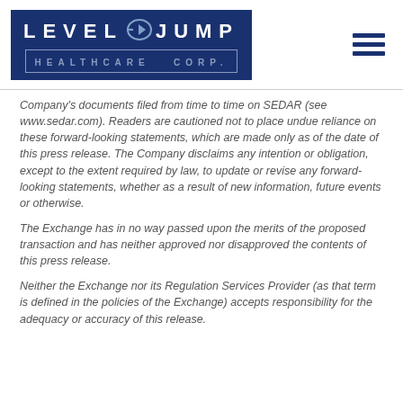[Figure (logo): LevelJump Healthcare Corp. logo — dark navy blue background with white uppercase text 'LEVEL' and 'JUMP' with an arrow icon between them, and 'HEALTHCARE CORP.' in a bordered box below]
Company's documents filed from time to time on SEDAR (see www.sedar.com). Readers are cautioned not to place undue reliance on these forward-looking statements, which are made only as of the date of this press release. The Company disclaims any intention or obligation, except to the extent required by law, to update or revise any forward-looking statements, whether as a result of new information, future events or otherwise.
The Exchange has in no way passed upon the merits of the proposed transaction and has neither approved nor disapproved the contents of this press release.
Neither the Exchange nor its Regulation Services Provider (as that term is defined in the policies of the Exchange) accepts responsibility for the adequacy or accuracy of this release.